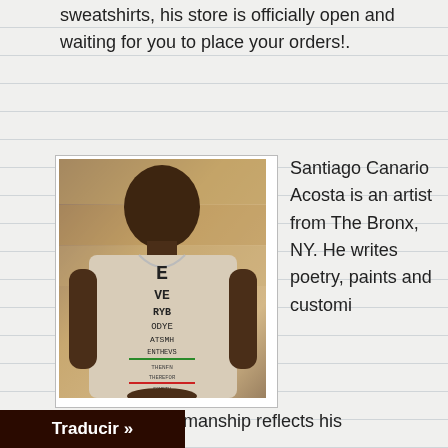sweatshirts, his store is officially open and waiting for you to place your orders!.
[Figure (photo): A man wearing a white t-shirt with an eye chart design, standing in front of a wooden wall background.]
Santiago Canario Acosta is an artist from The Bronx, NY. He writes poetry, paints and customizing clothing. His workmanship reflects his
othing. His workmanship reflects his